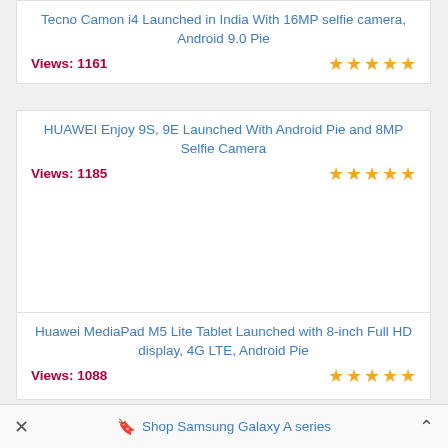Tecno Camon i4 Launched in India With 16MP selfie camera, Android 9.0 Pie
Views: 1161
HUAWEI Enjoy 9S, 9E Launched With Android Pie and 8MP Selfie Camera
Views: 1185
Huawei MediaPad M5 Lite Tablet Launched with 8-inch Full HD display, 4G LTE, Android Pie
Views: 1088
Shop Samsung Galaxy A series